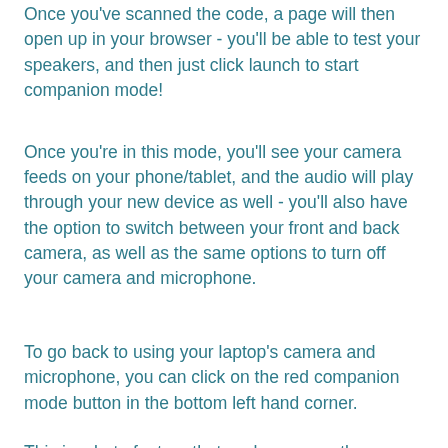Once you've scanned the code, a page will then open up in your browser - you'll be able to test your speakers, and then just click launch to start companion mode!
Once you're in this mode, you'll see your camera feeds on your phone/tablet, and the audio will play through your new device as well - you'll also have the option to switch between your front and back camera, as well as the same options to turn off your camera and microphone.
To go back to using your laptop's camera and microphone, you can click on the red companion mode button in the bottom left hand corner.
This is a beta feature that we have recently released, so if you do have any feedback, please do let us know!